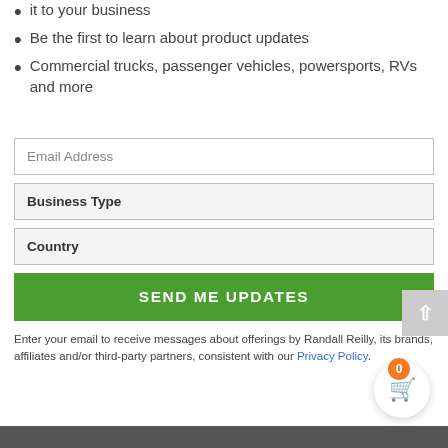it to your business
Be the first to learn about product updates
Commercial trucks, passenger vehicles, powersports, RVs and more
Email Address
Business Type
Country
SEND ME UPDATES
Enter your email to receive messages about offerings by Randall Reilly, its brands, affiliates and/or third-party partners, consistent with our Privacy Policy.